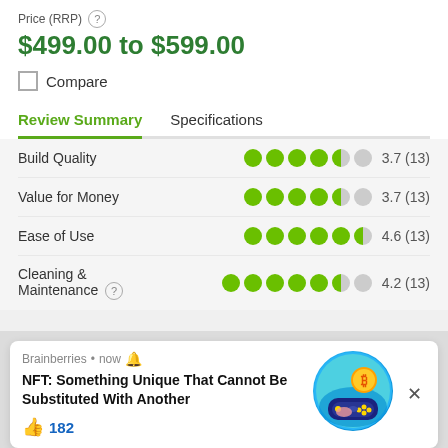Price (RRP) ?
$499.00 to $599.00
Compare
Review Summary | Specifications
| Category | Dots | Score |
| --- | --- | --- |
| Build Quality | ●●●●◐○ | 3.7 (13) |
| Value for Money | ●●●●◐○ | 3.7 (13) |
| Ease of Use | ●●●●●◐ | 4.6 (13) |
| Cleaning & Maintenance | ●●●●●◐○ | 4.2 (13) |
[Figure (infographic): Brainberries advertisement card with NFT article title, 182 likes, and circular illustration of gaming controller with bitcoin]
Brainberries • now 🔔
NFT: Something Unique That Cannot Be Substituted With Another
👍 182